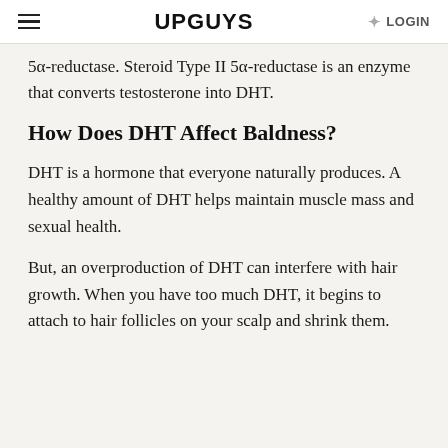UPGUYS LOGIN
5α-reductase. Steroid Type II 5α-reductase is an enzyme that converts testosterone into DHT.
How Does DHT Affect Baldness?
DHT is a hormone that everyone naturally produces. A healthy amount of DHT helps maintain muscle mass and sexual health.
But, an overproduction of DHT can interfere with hair growth. When you have too much DHT, it begins to attach to hair follicles on your scalp and shrink them.